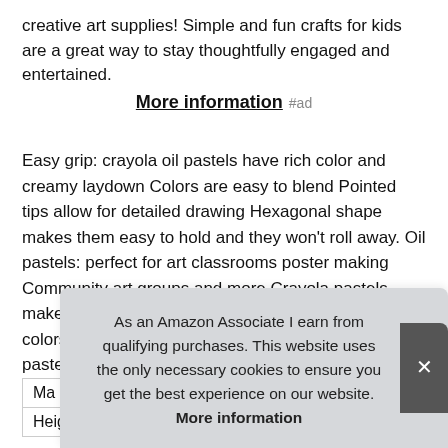creative art supplies! Simple and fun crafts for kids are a great way to stay thoughtfully engaged and entertained.
More information #ad
Easy grip: crayola oil pastels have rich color and creamy laydown Colors are easy to blend Pointed tips allow for detailed drawing Hexagonal shape makes them easy to hold and they won't roll away. Oil pastels: perfect for art classrooms poster making Community art groups and more Crayola pastels make art projects easy and fun! Choose your favorite colors & make sure you're never without the perfect pastel.
|  |  |
| --- | --- |
| Ma |  |
| Height | 7.38 Inches |
As an Amazon Associate I earn from qualifying purchases. This website uses the only necessary cookies to ensure you get the best experience on our website. More information